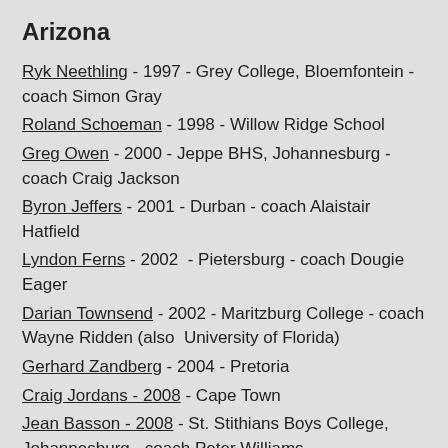Arizona
Ryk Neethling - 1997 - Grey College, Bloemfontein - coach Simon Gray
Roland Schoeman - 1998 - Willow Ridge School
Greg Owen - 2000 - Jeppe BHS, Johannesburg - coach Craig Jackson
Byron Jeffers - 2001 - Durban - coach Alaistair Hatfield
Lyndon Ferns - 2002  - Pietersburg - coach Dougie Eager
Darian Townsend - 2002 - Maritzburg College - coach Wayne Ridden (also  University of Florida)
Gerhard Zandberg - 2004 - Pretoria
Craig Jordans - 2008 - Cape Town
Jean Basson - 2008 - St. Stithians Boys College, Johannesburg - coach Peter Williams
Leone Vorster  - 2008 - Pietersburg
Jessica Ashley-Cooper - 2010 - Rustenburg HS, Cape T...